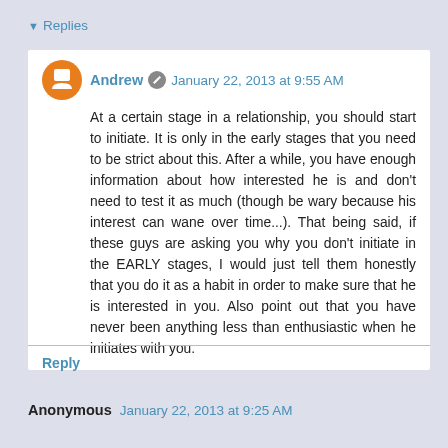▾ Replies
Andrew  January 22, 2013 at 9:55 AM
At a certain stage in a relationship, you should start to initiate. It is only in the early stages that you need to be strict about this. After a while, you have enough information about how interested he is and don't need to test it as much (though be wary because his interest can wane over time...). That being said, if these guys are asking you why you don't initiate in the EARLY stages, I would just tell them honestly that you do it as a habit in order to make sure that he is interested in you. Also point out that you have never been anything less than enthusiastic when he initiates with you.
Reply
Anonymous  January 22, 2013 at 9:25 AM